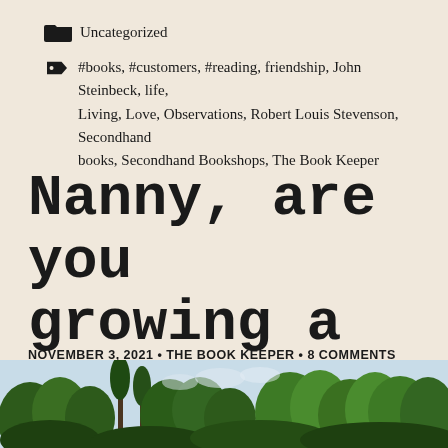Uncategorized
#books, #customers, #reading, friendship, John Steinbeck, life, Living, Love, Observations, Robert Louis Stevenson, Secondhand books, Secondhand Bookshops, The Book Keeper
Nanny, are you growing a beard?
NOVEMBER 3, 2021 • THE BOOK KEEPER • 8 COMMENTS
[Figure (photo): Outdoor nature photo showing lush green trees and shrubs against a pale sky, taken from a low angle]